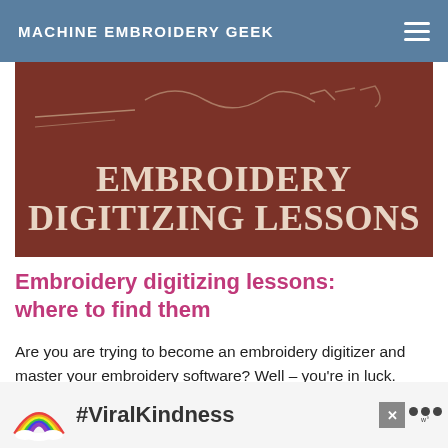MACHINE EMBROIDERY GEEK
[Figure (illustration): Dark red/brown banner image with large serif text reading 'EMBROIDERY DIGITIZING LESSONS' with decorative handwritten script overlay lines in the upper area]
Embroidery digitizing lessons: where to find them
Are you are trying to become an embroidery digitizer and master your embroidery software? Well – you're in luck. There are a number of different places where you can find excellent embroidery digitizing lessons that will teach you how to use your chosen embroidery digitizing software. Some of these
[Figure (infographic): Advertisement banner showing a rainbow graphic and #ViralKindness hashtag text with a close button and logo]